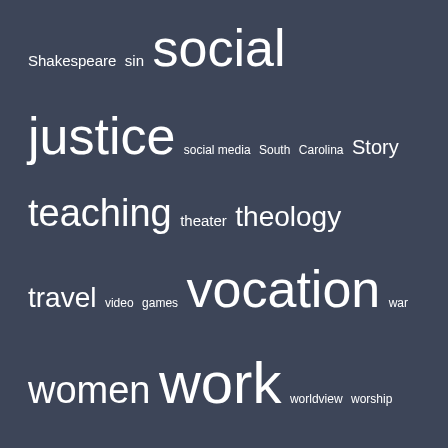Shakespeare sin social justice social media South Carolina Story teaching theater theology travel video games vocation war women work worldview worship writing
Post Archive
Select Month
Affiliate Disclosure
Just:Words participates in the Amazon Services LLC Associates Program, an affiliate advertising program designed to provide a means for sites to earn advertising fees by advertising and linking to products